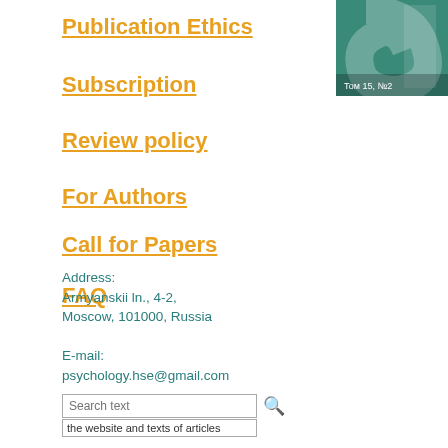Publication Ethics
Subscription
Review policy
For Authors
Call for Papers
FAQ
[Figure (photo): Journal cover image with teal/green background and stylized letter, showing Том 15, №2]
Address:
Armyanskii ln., 4-2,
Moscow, 101000, Russia

E-mail:
psychology.hse@gmail.com
Search text
the website and texts of articles